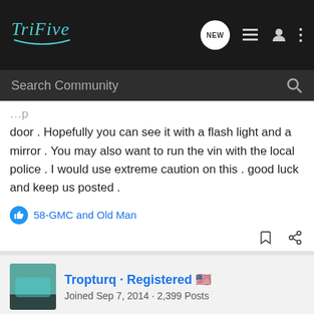TriFive - Search Community
door . Hopefully you can see it with a flash light and a mirror . You may also want to run the vin with the local police . I would use extreme caution on this . good luck and keep us posted .
58-GMC and Old Man
Tropturq · Registered
Joined Sep 7, 2014 · 2,399 Posts
#3 · Jun 4, 2022 (Edited)
As stated, There is a partial VIN on the top of the frame even with the drivers side seat. It is also re-stamped about 18 inches